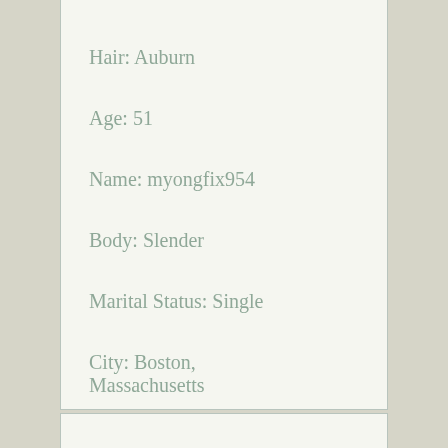Hair: Auburn
Age: 51
Name: myongfix954
Body: Slender
Marital Status: Single
City: Boston, Massachusetts